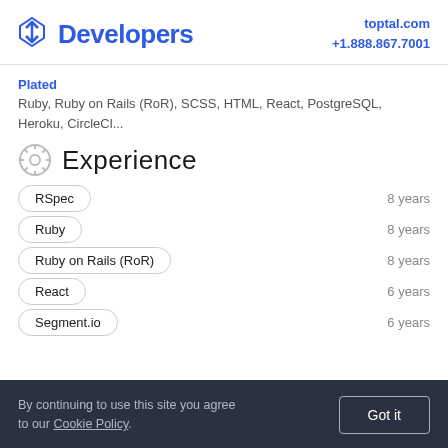Developers | toptal.com +1.888.867.7001
Plated
Ruby, Ruby on Rails (RoR), SCSS, HTML, React, PostgreSQL, Heroku, CircleCl...
Experience
RSpec  8 years
Ruby  8 years
Ruby on Rails (RoR)  8 years
React  6 years
Segment.io  6 years
By continuing to use this site you agree to our Cookie Policy. Got it